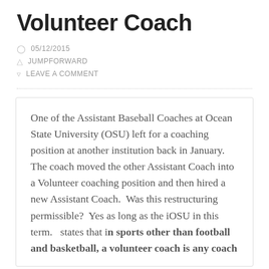Volunteer Coach
05/12/2015
JUMPFORWARD
LEAVE A COMMENT
One of the Assistant Baseball Coaches at Ocean State University (OSU) left for a coaching position at another institution back in January.  The coach moved the other Assistant Coach into a Volunteer coaching position and then hired a new Assistant Coach.  Was this restructuring permissible?  Yes as long as the iOSU in this term.   states that in sports other than football and basketball, a volunteer coach is any coach who does not receive compensation